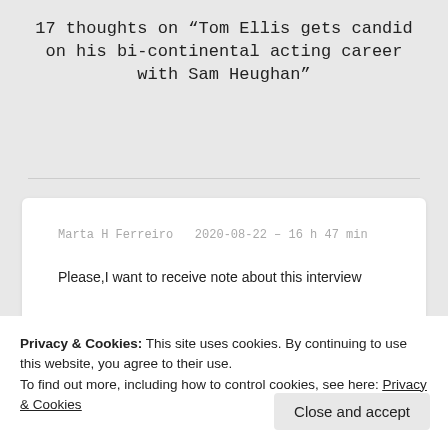17 thoughts on “Tom Ellis gets candid on his bi-continental acting career with Sam Heughan”
Marta H Ferreiro   2020-08-22 – 16 h 47 min
Please,I want to receive note about this interview
★ Like
Privacy & Cookies: This site uses cookies. By continuing to use this website, you agree to their use.
To find out more, including how to control cookies, see here: Privacy & Cookies
Close and accept